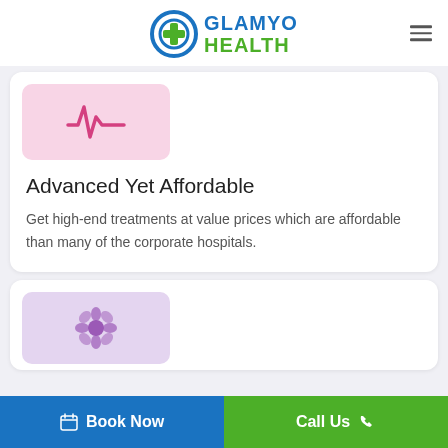[Figure (logo): Glamyo Health logo with circular blue/green medical cross icon and GLAMYO HEALTH text in blue and green]
[Figure (illustration): Pink background card icon with a heartbeat/EKG line in pink/magenta]
Advanced Yet Affordable
Get high-end treatments at value prices which are affordable than many of the corporate hospitals.
[Figure (illustration): Purple/lavender background card icon with a flower/wellness symbol]
Book Now
Call Us